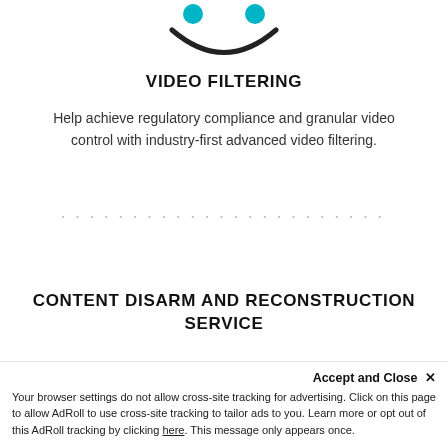[Figure (illustration): Partial view of a stylized smiley face icon with teal/cyan eyes and a dark curved smile outline, cropped at the top]
VIDEO FILTERING
Help achieve regulatory compliance and granular video control with industry-first advanced video filtering.
[Figure (other): A row of small dots used as a section divider]
CONTENT DISARM AND RECONSTRUCTION SERVICE
With the addition of the Content Disarm ... low latency content ...
Accept and Close ×
Your browser settings do not allow cross-site tracking for advertising. Click on this page to allow AdRoll to use cross-site tracking to tailor ads to you. Learn more or opt out of this AdRoll tracking by clicking here. This message only appears once.